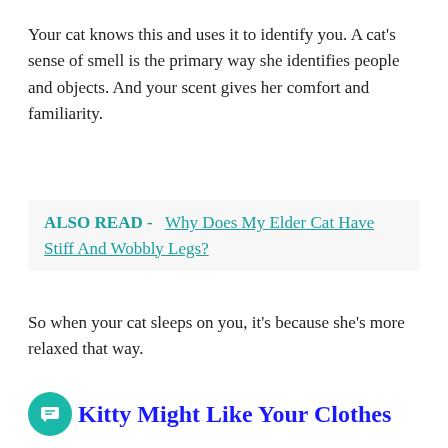Your cat knows this and uses it to identify you. A cat's sense of smell is the primary way she identifies people and objects. And your scent gives her comfort and familiarity.
ALSO READ -  Why Does My Elder Cat Have Stiff And Wobbly Legs?
So when your cat sleeps on you, it's because she's more relaxed that way.
Kitty Might Like Your Clothes